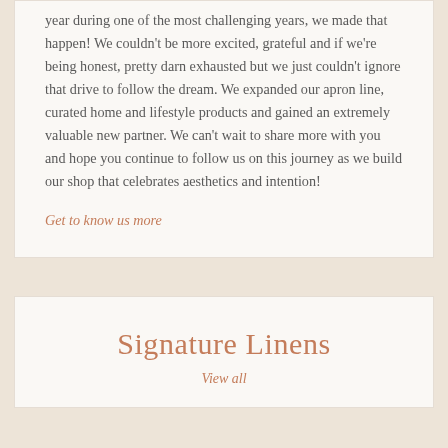year during one of the most challenging years, we made that happen! We couldn't be more excited, grateful and if we're being honest, pretty darn exhausted but we just couldn't ignore that drive to follow the dream. We expanded our apron line, curated home and lifestyle products and gained an extremely valuable new partner. We can't wait to share more with you and hope you continue to follow us on this journey as we build our shop that celebrates aesthetics and intention!
Get to know us more
Signature Linens
View all